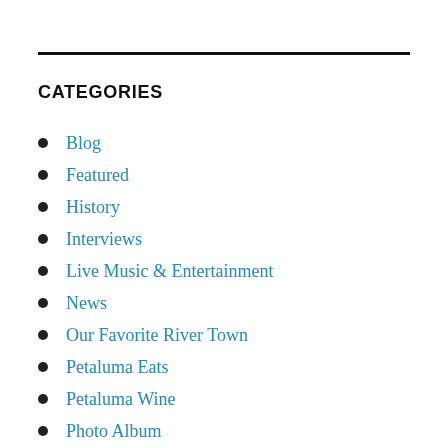CATEGORIES
Blog
Featured
History
Interviews
Live Music & Entertainment
News
Our Favorite River Town
Petaluma Eats
Petaluma Wine
Photo Album
Sports
The Local Angle